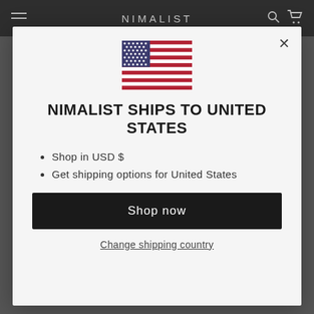NIMALIST
[Figure (illustration): US flag SVG illustration]
NIMALIST SHIPS TO UNITED STATES
Shop in USD $
Get shipping options for United States
Shop now
Change shipping country